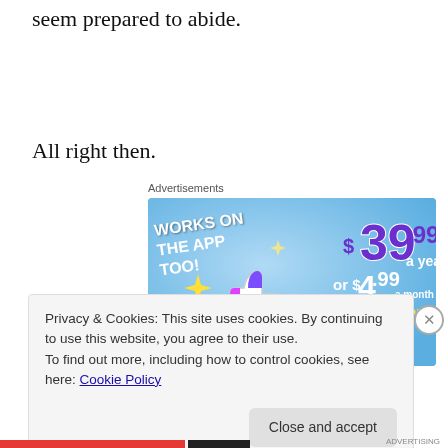seem prepared to abide.
All right then.
Advertisements
[Figure (infographic): Advertisement banner with light blue background. Left side: white bold text 'WORKS ON THE APP TOO!' at an angle. Center: a thumbs-up icon with purple/pink/white coloring and yellow sparkle stars. Right side: '$39.99 a year' in large purple text, 'or $4.99 a month' in white text, '+ FREE SHIPPING' in yellow text.]
Privacy & Cookies: This site uses cookies. By continuing to use this website, you agree to their use.
To find out more, including how to control cookies, see here: Cookie Policy
Close and accept